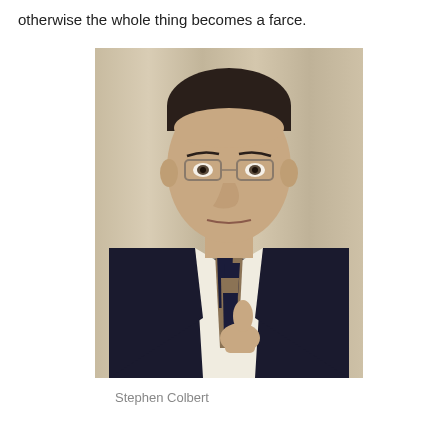otherwise the whole thing becomes a farce.
[Figure (photo): A man in a dark suit with a striped tie, wearing glasses, pointing with his thumb, posing in front of a light curtain background. Identified as Stephen Colbert.]
Stephen Colbert